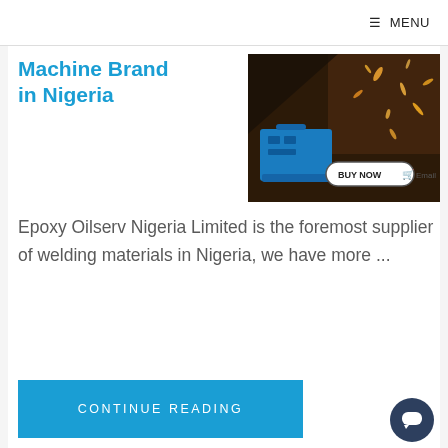≡ MENU
Machine Brand in Nigeria
[Figure (photo): A blue welding machine with sparks in the background and a 'BUY NOW' button overlay with cart icon, plus partial 'Email' text]
Epoxy Oilserv Nigeria Limited is the foremost supplier of welding materials in Nigeria, we have more ...
CONTINUE READING
Epoxy Flooring For Sports Court